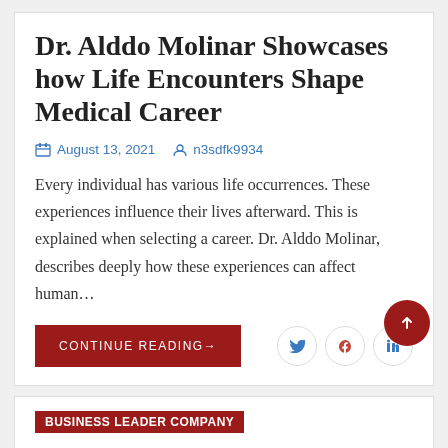Dr. Alddo Molinar Showcases how Life Encounters Shape Medical Career
August 13, 2021   n3sdfk9934
Every individual has various life occurrences. These experiences influence their lives afterward. This is explained when selecting a career. Dr. Alddo Molinar, describes deeply how these experiences can affect human…
CONTINUE READING→
Business Leader Company
PosiGen: Caring For